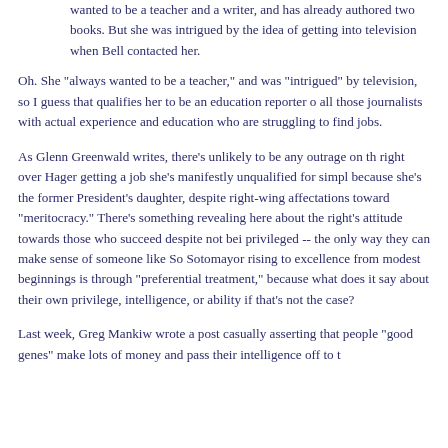wanted to be a teacher and a writer, and has already authored two books. But she was intrigued by the idea of getting into television when Bell contacted her.
Oh. She "always wanted to be a teacher," and was "intrigued" by television, so I guess that qualifies her to be an education reporter over all those journalists with actual experience and education who are struggling to find jobs.
As Glenn Greenwald writes, there's unlikely to be any outrage on the right over Hager getting a job she's manifestly unqualified for simply because she's the former President's daughter, despite right-wing affectations toward "meritocracy." There's something revealing here about the right's attitude towards those who succeed despite not being privileged -- the only way they can make sense of someone like Sonia Sotomayor rising to excellence from modest beginnings is through "preferential treatment," because what does it say about their own privilege, intelligence, or ability if that's not the case?
Last week, Greg Mankiw wrote a post casually asserting that people with "good genes" make lots of money and pass their intelligence off to t